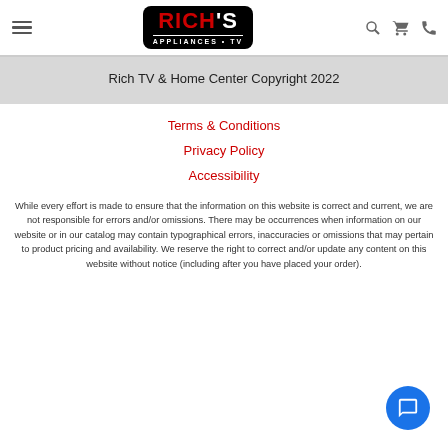Rich's Appliances TV - navigation header with logo, search, cart, phone icons
Rich TV & Home Center Copyright 2022
Terms & Conditions
Privacy Policy
Accessibility
While every effort is made to ensure that the information on this website is correct and current, we are not responsible for errors and/or omissions. There may be occurrences when information on our website or in our catalog may contain typographical errors, inaccuracies or omissions that may pertain to product pricing and availability. We reserve the right to correct and/or update any content on this website without notice (including after you have placed your order).